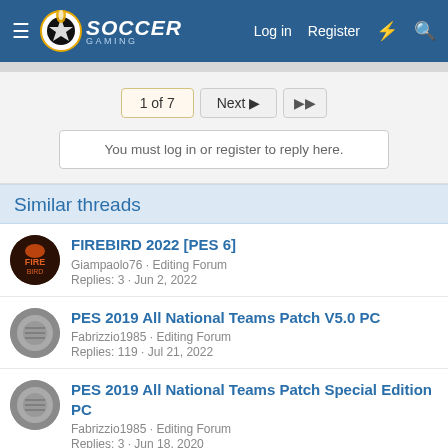Soccer Gaming — Log in  Register
1 of 7  Next  ▶▶
You must log in or register to reply here.
Similar threads
FIREBIRD 2022 [PES 6] · Giampaolo76 · Editing Forum · Replies: 3 · Jun 2, 2022
PES 2019 All National Teams Patch V5.0 PC · Fabrizzio1985 · Editing Forum · Replies: 119 · Jul 21, 2022
PES 2019 All National Teams Patch Special Edition PC · Fabrizzio1985 · Editing Forum · Replies: 3 · Jun 18, 2020